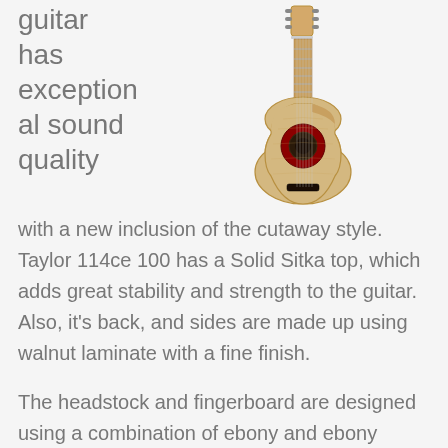guitar has exceptional sound quality
[Figure (photo): Taylor 114ce acoustic guitar with cutaway, solid Sitka spruce top, natural finish, rosette visible, photographed from front]
with a new inclusion of the cutaway style. Taylor 114ce 100 has a Solid Sitka top, which adds great stability and strength to the guitar. Also, it's back, and sides are made up using walnut laminate with a fine finish.
The headstock and fingerboard are designed using a combination of ebony and ebony overlay, while the neck is made of Sapele. It has an ebony bridge and a classic shape with a Venetian cutaway. This overall makes it lightweight with a sturdy grip and great sound